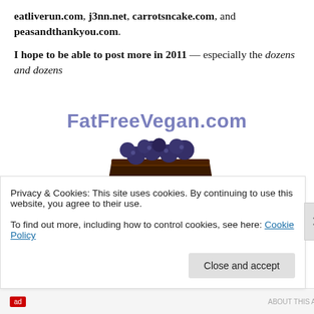eatliverun.com, j3nn.net, carrotsncake.com, and peasandthankyou.com.
I hope to be able to post more in 2011 — especially the dozens and dozens
[Figure (photo): FatFreeVegan.com logo with image of chocolate cake topped with blueberries on a plate]
of cooking/baking shots I have stored away from the past
Privacy & Cookies: This site uses cookies. By continuing to use this website, you agree to their use. To find out more, including how to control cookies, see here: Cookie Policy
Close and accept